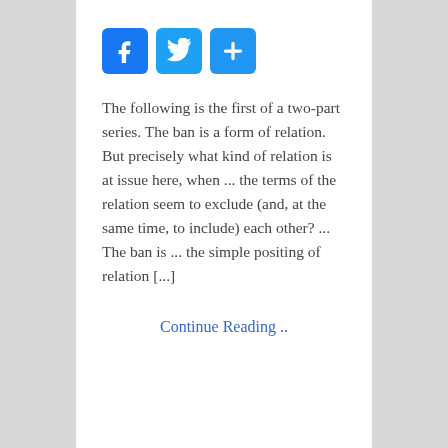[Figure (other): Social media share icons: Facebook (blue f), Twitter (blue bird), and a blue plus/share button]
The following is the first of a two-part series. The ban is a form of relation. But precisely what kind of relation is at issue here, when ... the terms of the relation seem to exclude (and, at the same time, to include) each other? ... The ban is ... the simple positing of relation [...]
Continue Reading ..